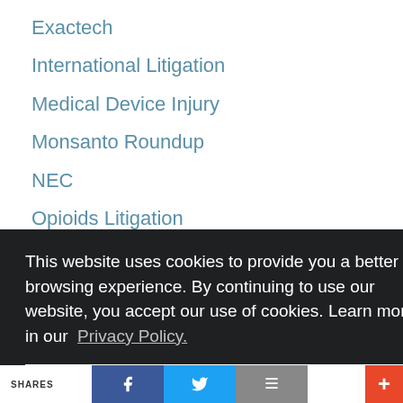Exactech
International Litigation
Medical Device Injury
Monsanto Roundup
NEC
Opioids Litigation
Qui Tam Whistleblower
Silicosis
This website uses cookies to provide you a better browsing experience. By continuing to use our website, you accept our use of cookies. Learn more in our Privacy Policy.
I understand
SHARES